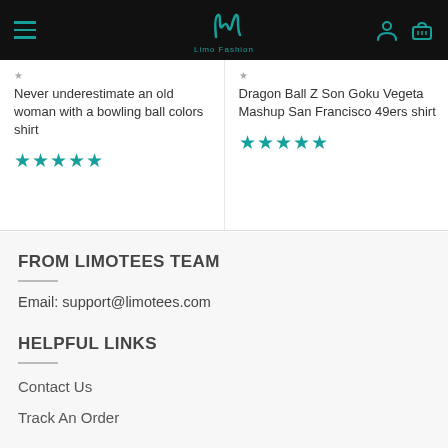Limo Fashion
Never underestimate an old woman with a bowling ball colors shirt
★★★★★
Dragon Ball Z Son Goku Vegeta Mashup San Francisco 49ers shirt
★★★★★
FROM LIMOTEES TEAM
Email: support@limotees.com
HELPFUL LINKS
Contact Us
Track An Order